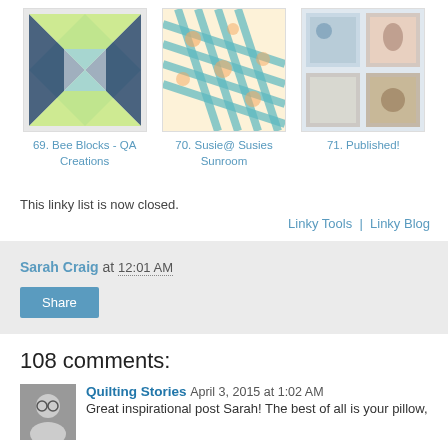[Figure (photo): Thumbnail image of quilt blocks - Bee Blocks QA Creations]
69. Bee Blocks - QA Creations
[Figure (photo): Thumbnail image of a quilt - Susie@ Susies Sunroom]
70. Susie@ Susies Sunroom
[Figure (photo): Thumbnail image - Published!]
71. Published!
This linky list is now closed.
Linky Tools  |  Linky Blog
Sarah Craig at 12:01 AM
Share
108 comments:
Quilting Stories April 3, 2015 at 1:02 AM
Great inspirational post Sarah! The best of all is your pillow,